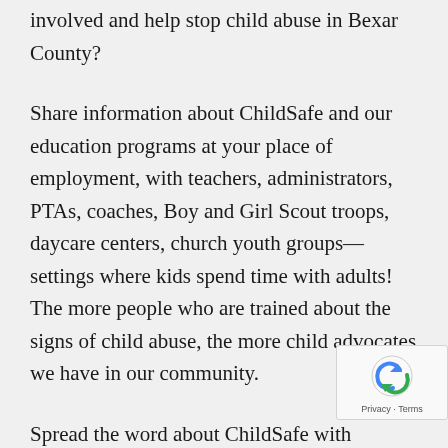involved and help stop child abuse in Bexar County?
Share information about ChildSafe and our education programs at your place of employment, with teachers, administrators, PTAs, coaches, Boy and Girl Scout troops, daycare centers, church youth groups—settings where kids spend time with adults! The more people who are trained about the signs of child abuse, the more child advocates we have in our community.
Spread the word about ChildSafe with